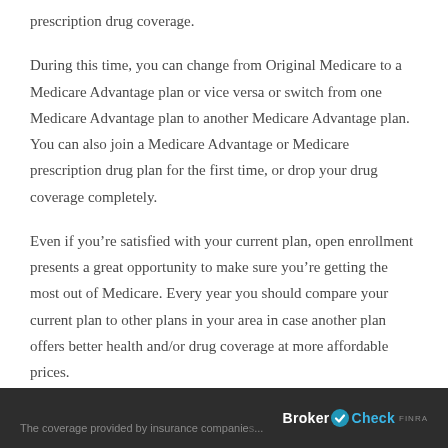prescription drug coverage.
During this time, you can change from Original Medicare to a Medicare Advantage plan or vice versa or switch from one Medicare Advantage plan to another Medicare Advantage plan. You can also join a Medicare Advantage or Medicare prescription drug plan for the first time, or drop your drug coverage completely.
Even if you’re satisfied with your current plan, open enrollment presents a great opportunity to make sure you’re getting the most out of Medicare. Every year you should compare your current plan to other plans in your area in case another plan offers better health and/or drug coverage at more affordable prices.
The coverage provided by insurance companie... BrokerCheck FINRA